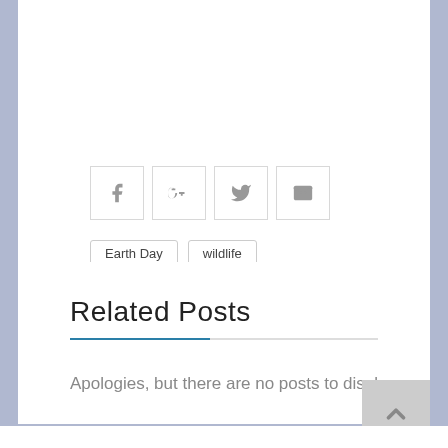[Figure (other): Social share icons: Facebook, Google+, Twitter, Email — each in a bordered square box]
Earth Day   wildlife
Related Posts
Apologies, but there are no posts to display.